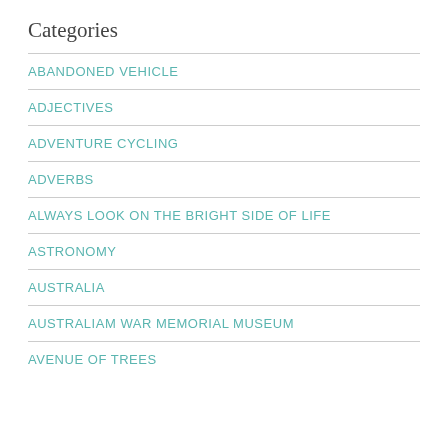Categories
ABANDONED VEHICLE
ADJECTIVES
ADVENTURE CYCLING
ADVERBS
ALWAYS LOOK ON THE BRIGHT SIDE OF LIFE
ASTRONOMY
AUSTRALIA
AUSTRALIAM WAR MEMORIAL MUSEUM
AVENUE OF TREES